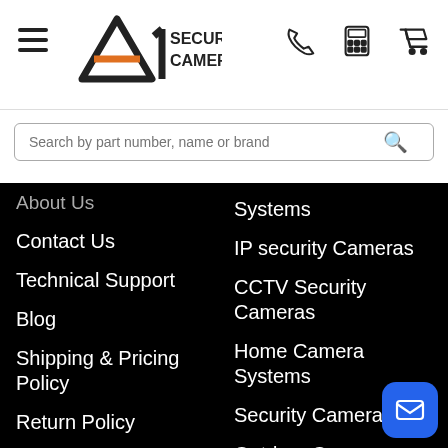[Figure (logo): A1 Security Cameras logo with stylized letter A and 1, orange dash accent]
Search by part number, name or brand
About Us
Contact Us
Technical Support
Blog
Shipping & Pricing Policy
Return Policy
Financing
Discontinued - EOL Products
Systems
IP security Cameras
CCTV Security Cameras
Home Camera Systems
Security Cameras
Outdoor Camera Systems
Business Security Cameras